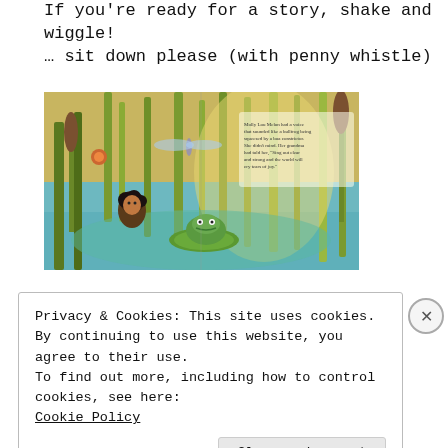If you're ready for a story, shake and wiggle! ... sit down please (with penny whistle)
[Figure (illustration): Illustrated children's book spread showing a swamp/marsh scene with a child character, a frog on a lily pad, dragonfly, cattails, tall reeds, and other small bug/creature characters. Text visible in upper right of the book page.]
Privacy & Cookies: This site uses cookies. By continuing to use this website, you agree to their use.
To find out more, including how to control cookies, see here: Cookie Policy
Close and accept